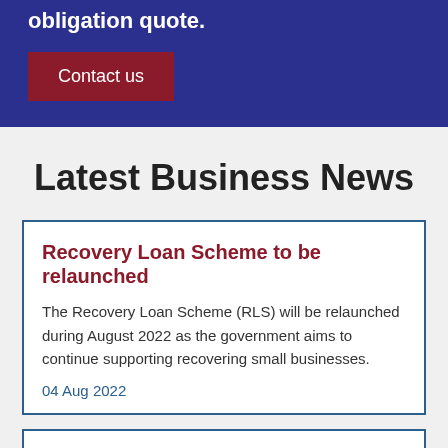obligation quote.
Contact us
Latest Business News
Recovery Loan Scheme to be relaunched
The Recovery Loan Scheme (RLS) will be relaunched during August 2022 as the government aims to continue supporting recovering small businesses.
04 Aug 2022
National insurance threshold rises